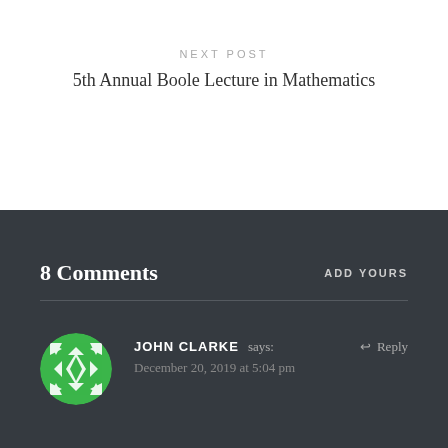NEXT POST
5th Annual Boole Lecture in Mathematics
8 Comments
ADD YOURS
JOHN CLARKE says:
December 20, 2019 at 5:04 pm
↩ Reply